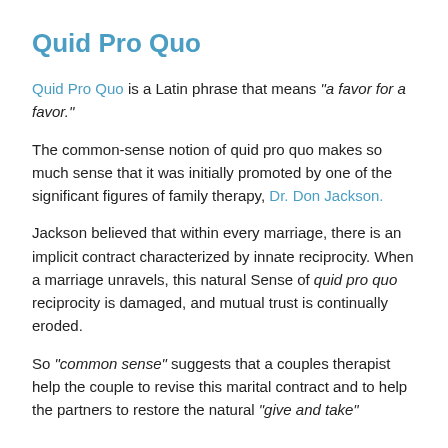Quid Pro Quo
Quid Pro Quo is a Latin phrase that means “a favor for a favor.”
The common-sense notion of quid pro quo makes so much sense that it was initially promoted by one of the significant figures of family therapy, Dr. Don Jackson.
Jackson believed that within every marriage, there is an implicit contract characterized by innate reciprocity. When a marriage unravels, this natural Sense of quid pro quo reciprocity is damaged, and mutual trust is continually eroded.
So “common sense” suggests that a couples therapist help the couple to revise this marital contract and to help the partners to restore the natural “give and take”